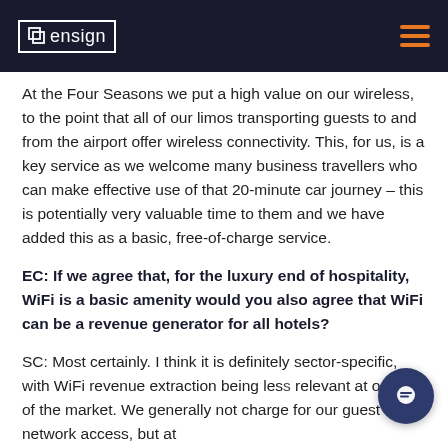ensign
At the Four Seasons we put a high value on our wireless, to the point that all of our limos transporting guests to and from the airport offer wireless connectivity. This, for us, is a key service as we welcome many business travellers who can make effective use of that 20-minute car journey – this is potentially very valuable time to them and we have added this as a basic, free-of-charge service.
EC: If we agree that, for the luxury end of hospitality, WiFi is a basic amenity would you also agree that WiFi can be a revenue generator for all hotels?
SC: Most certainly. I think it is definitely sector-specific, with WiFi revenue extraction being less relevant at our end of the market. We generally not charge for our guest network access, but at